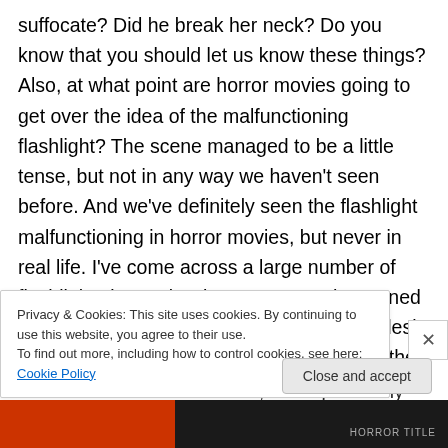suffocate?  Did he break her neck?  Do you know that you should let us know these things?  Also, at what point are horror movies going to get over the idea of the malfunctioning flashlight?  The scene managed to be a little tense, but not in any way we haven't seen before.  And we've definitely seen the flashlight malfunctioning in horror movies, but never in real life.  I've come across a large number of flashlights in my day, but never one that turned on intermittently.  I have a flashlight on my desk that has been dying for about 7 years, and the bulb remains on when I turn it on, but is just really dim.  There
Privacy & Cookies: This site uses cookies. By continuing to use this website, you agree to their use.
To find out more, including how to control cookies, see here: Cookie Policy
Close and accept
HORROR TITLE